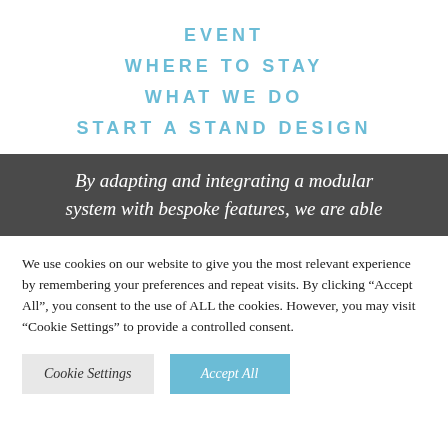EVENT
WHERE TO STAY
WHAT WE DO
START A STAND DESIGN
[Figure (photo): Dark banner with partial text: 'By adapting and integrating a modular system with bespoke features, we are able']
We use cookies on our website to give you the most relevant experience by remembering your preferences and repeat visits. By clicking “Accept All”, you consent to the use of ALL the cookies. However, you may visit "Cookie Settings" to provide a controlled consent.
Cookie Settings | Accept All